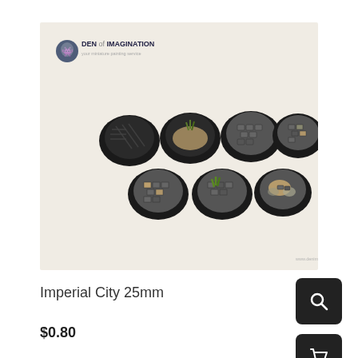[Figure (photo): Seven miniature bases with Imperial City cobblestone texture, painted in dark grey/black with grass and sand details. Shown on a light beige background with Den of Imagination logo in top left corner.]
Imperial City 25mm
$0.80